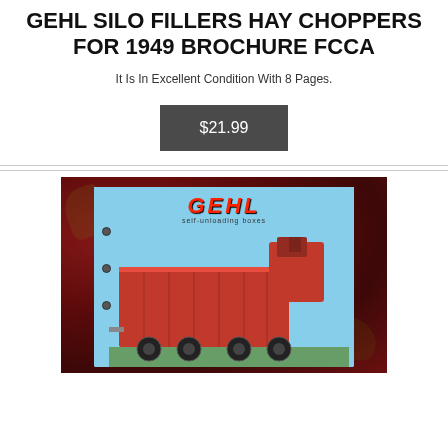GEHL SILO FILLERS HAY CHOPPERS FOR 1949 BROCHURE FCCA
It Is In Excellent Condition With 8 Pages.
$21.99
[Figure (photo): Photograph of a Gehl self-unloading farm wagon brochure cover, placed on a dark red floral patterned surface. The brochure shows the GEHL logo in red italic letters with 'self-unloading boxes' text beneath, and a large red agricultural machine (self-unloading wagon/box) on a blue sky background.]